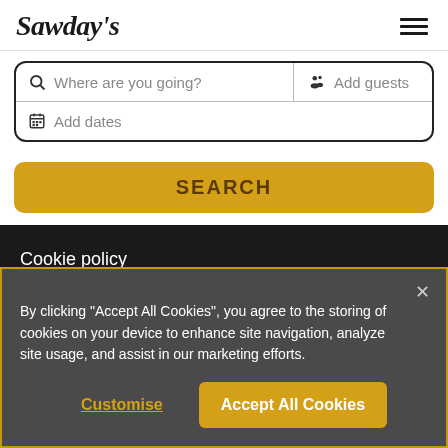Sawday's
Where are you going? | Add guests | Add dates
SEARCH
Cookie policy
Terms and conditions
Sawday's books
By clicking "Accept All Cookies", you agree to the storing of cookies on your device to enhance site navigation, analyze site usage, and assist in our marketing efforts.
Customise
Accept All Cookies